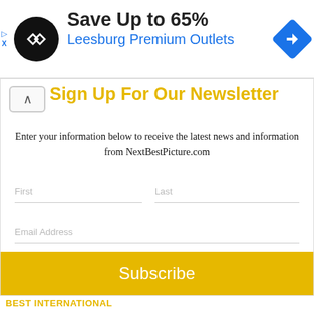[Figure (screenshot): Advertisement banner: circular black logo with arrow symbol, 'Save Up to 65%' in bold dark text, 'Leesburg Premium Outlets' in blue text, blue navigation arrow icon on right. Small 'D X' label in top-left corner.]
Sign Up For Our Newsletter
Enter your information below to receive the latest news and information from NextBestPicture.com
First
Last
Email Address
Subscribe
BEST INTERNATIONAL